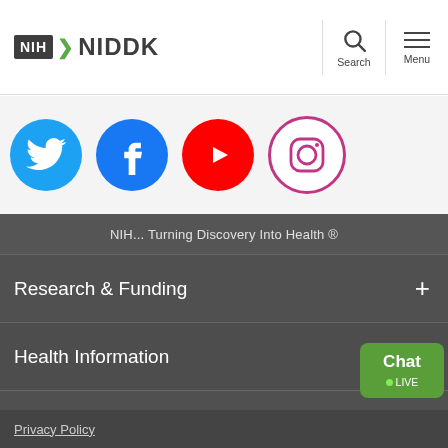NIH NIDDK
[Figure (logo): NIH NIDDK logo with search and menu icons]
[Figure (illustration): Social media icons: Twitter, Facebook, YouTube, Instagram]
NIH... Turning Discovery Into Health ®
Research & Funding +
Health Information +
News +
About NIDDK +
[Figure (other): Chat LIVE button widget]
Privacy Policy